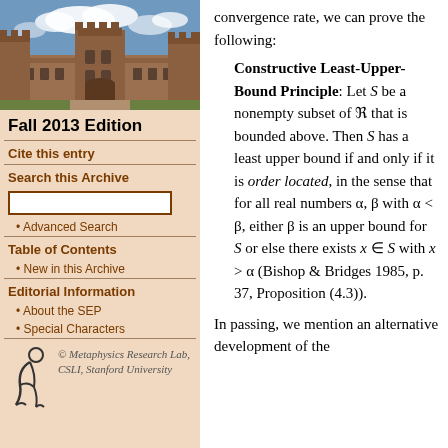[Figure (photo): Photo of a stone university building with towers and courtyard under a blue sky with clouds]
Fall 2013 Edition
Cite this entry
Search this Archive
Advanced Search
Table of Contents
New in this Archive
Editorial Information
About the SEP
Special Characters
[Figure (logo): Metaphysics Research Lab logo - stylized figure]
© Metaphysics Research Lab, CSLI, Stanford University
convergence rate, we can prove the following:
Constructive Least-Upper-Bound Principle: Let S be a nonempty subset of ℜ that is bounded above. Then S has a least upper bound if and only if it is order located, in the sense that for all real numbers α, β with α < β, either β is an upper bound for S or else there exists x ∈ S with x > α (Bishop & Bridges 1985, p. 37, Proposition (4.3)).
In passing, we mention an alternative development of the